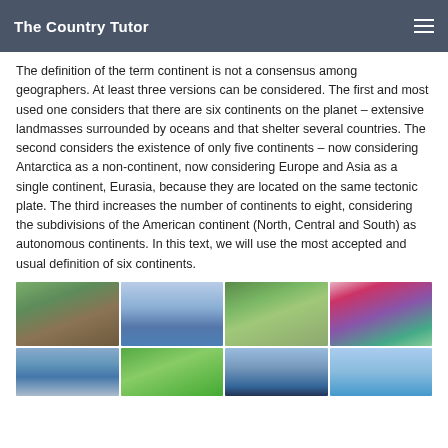The Country Tutor
The definition of the term continent is not a consensus among geographers. At least three versions can be considered. The first and most used one considers that there are six continents on the planet – extensive landmasses surrounded by oceans and that shelter several countries. The second considers the existence of only five continents – now considering Antarctica as a non-continent, now considering Europe and Asia as a single continent, Eurasia, because they are located on the same tectonic plate. The third increases the number of continents to eight, considering the subdivisions of the American continent (North, Central and South) as autonomous continents. In this text, we will use the most accepted and usual definition of six continents.
[Figure (photo): Grid of travel/landmark photos showing various world locations including European architecture, Space Needle Seattle, a castle, roller coaster, Sydney Harbour Bridge, green landscape, city skyline, and coastal scene.]